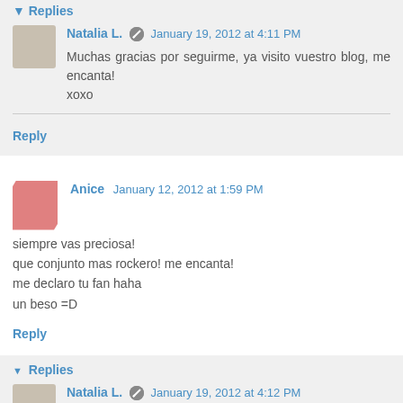Replies
Natalia L. January 19, 2012 at 4:11 PM
Muchas gracias por seguirme, ya visito vuestro blog, me encanta!
xoxo
Reply
Anice January 12, 2012 at 1:59 PM
siempre vas preciosa!
que conjunto mas rockero! me encanta!
me declaro tu fan haha
un beso =D
Reply
Replies
Natalia L. January 19, 2012 at 4:12 PM
Aww, muchisimas gracias, guapisima!!